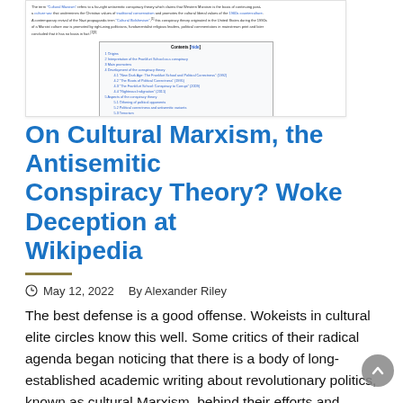[Figure (screenshot): Wikipedia article screenshot showing introductory text and table of contents for the 'Cultural Marxism' article, with blue hyperlinks and a bordered table of contents box listing sections including Origins, Interpretation of the Frankfurt School, Main promoters, Development of the conspiracy theory (with subsections), Aspects of the conspiracy theory (with subsections), Entering the mainstream discourse (with subsections for Australia, Brazil, United Kingdom, United States), and See also.]
On Cultural Marxism, the Antisemitic Conspiracy Theory? Woke Deception at Wikipedia
May 12, 2022  By Alexander Riley
The best defense is a good offense. Wokeists in cultural elite circles know this well. Some critics of their radical agenda began noticing that there is a body of long-established academic writing about revolutionary politics, known as cultural Marxism, behind their efforts and launched an attack on those ideas and thinkers. The Wokeists responded with [...]